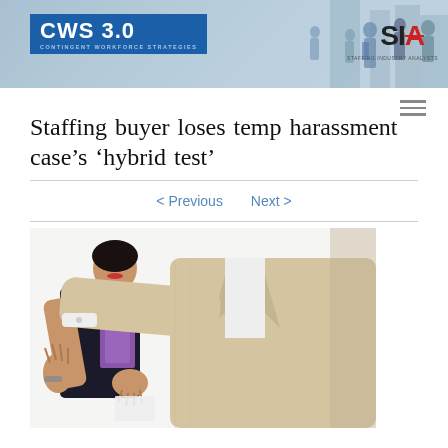CWS 3.0 CONTINGENT WORKFORCE STRATEGIES | SIA STAFFING INDUSTRY ANALYSTS
Staffing buyer loses temp harassment case’s ‘hybrid test’
< Previous   Next >
[Figure (photo): Photo depicting workplace harassment scene: a person in a beige suit jacket pressing one arm against a wall trapping a woman in a dark outfit holding folders, her hand raised in a defensive gesture.]